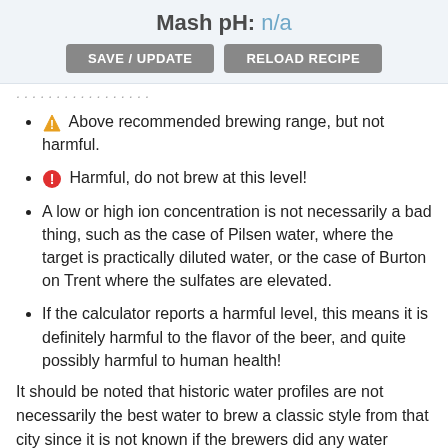Mash pH: n/a
Above recommended brewing range, but not harmful.
Harmful, do not brew at this level!
A low or high ion concentration is not necessarily a bad thing, such as the case of Pilsen water, where the target is practically diluted water, or the case of Burton on Trent where the sulfates are elevated.
If the calculator reports a harmful level, this means it is definitely harmful to the flavor of the beer, and quite possibly harmful to human health!
It should be noted that historic water profiles are not necessarily the best water to brew a classic style from that city since it is not known if the brewers did any water treatment. A prime example is Munich water which is well suited for Munich Dunkel but the wrong water for Munich Helles.